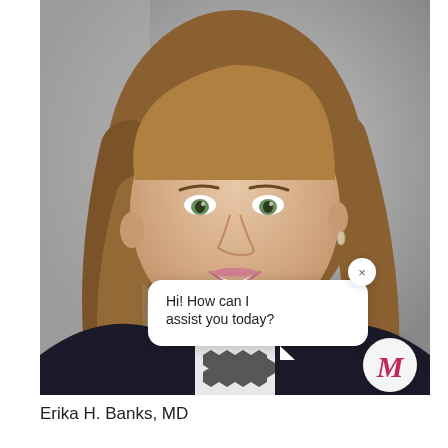[Figure (photo): Professional headshot of a middle-aged woman with shoulder-length brown/blonde hair, smiling, wearing a dark blazer with a black and white patterned scarf/top, against a grey background. A chat bubble overlay reads 'Hi! How can I assist you today?' with a close (×) button and a circular 'M' avatar button in pink/red color.]
Erika H. Banks, MD